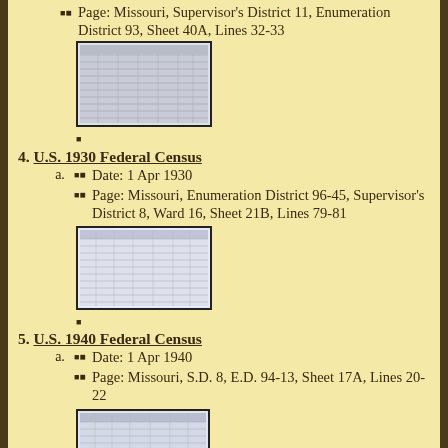Page: Missouri, Supervisor's District 11, Enumeration District 93, Sheet 40A, Lines 32-33
[Figure (photo): Scanned census record document, 1920 Federal Census]
4. U.S. 1930 Federal Census
Date: 1 Apr 1930
Page: Missouri, Enumeration District 96-45, Supervisor's District 8, Ward 16, Sheet 21B, Lines 79-81
[Figure (photo): Scanned census record document, 1930 Federal Census]
5. U.S. 1940 Federal Census
Date: 1 Apr 1940
Page: Missouri, S.D. 8, E.D. 94-13, Sheet 17A, Lines 20-22
[Figure (photo): Scanned census record document, 1940 Federal Census]
6. U.S. 1950 Federal Census